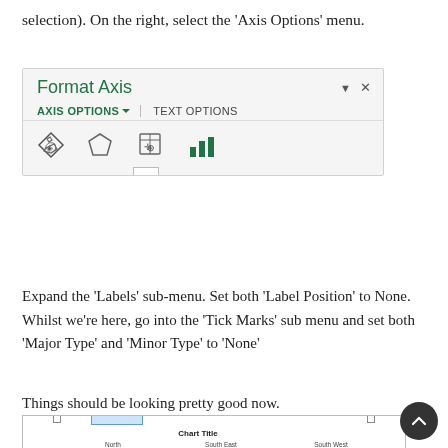selection). On the right, select the 'Axis Options' menu.
[Figure (screenshot): Screenshot of Excel's Format Axis panel showing 'AXIS OPTIONS' and 'TEXT OPTIONS' tabs, with four icons below (fill, effects, size/properties, bar chart icon highlighted in green).]
Expand the 'Labels' sub-menu. Set both 'Label Position' to None. Whilst we're here, go into the 'Tick Marks' sub menu and set both 'Major Type' and 'Minor Type' to 'None'
Things should be looking pretty good now.
[Figure (screenshot): Partial screenshot of an Excel grouped bar chart titled 'Chart Title' with three regions: North, South East, South West, and y-axis showing values from 400 to 700.]